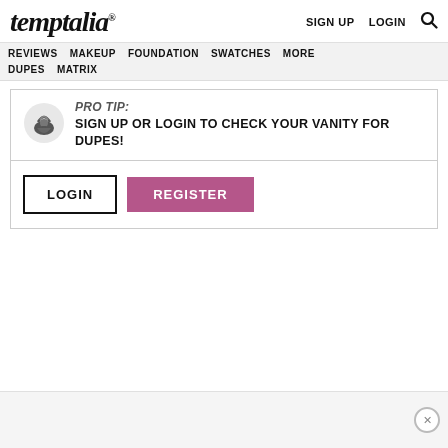temptalia
SIGN UP  LOGIN
REVIEWS  MAKEUP  FOUNDATION  SWATCHES  MORE  DUPES  MATRIX
PRO TIP: SIGN UP OR LOGIN TO CHECK YOUR VANITY FOR DUPES!
LOGIN  REGISTER
[Figure (other): Bottom advertisement area with close button]